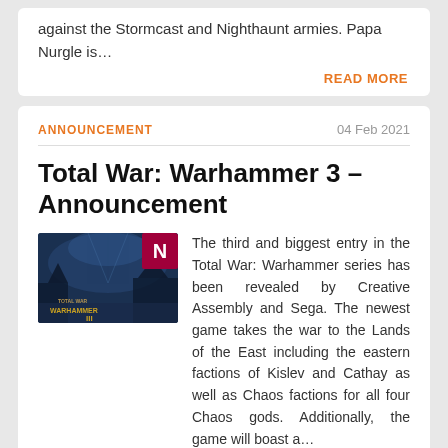against the Stormcast and Nighthaunt armies. Papa Nurgle is…
READ MORE
ANNOUNCEMENT
04 Feb 2021
Total War: Warhammer 3 – Announcement
[Figure (screenshot): Total War: Warhammer 3 game thumbnail with dark blue fantasy scene and gold Warhammer logo, with a red N badge overlay]
The third and biggest entry in the Total War: Warhammer series has been revealed by Creative Assembly and Sega. The newest game takes the war to the Lands of the East including the eastern factions of Kislev and Cathay as well as Chaos factions for all four Chaos gods. Additionally, the game will boast a…
READ MORE